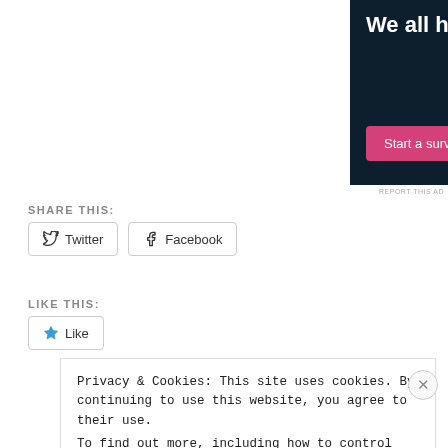[Figure (illustration): Dark navy blue advertisement banner for Crowdsignal. Shows bold white text 'We all have them!' with a pink 'Start a survey' button and Crowdsignal logo circle on the right.]
REPORT THIS AD
SHARE THIS:
Twitter  Facebook
LIKE THIS:
Like
Privacy & Cookies: This site uses cookies. By continuing to use this website, you agree to their use. To find out more, including how to control cookies, see here: Cookie Policy
Close and accept